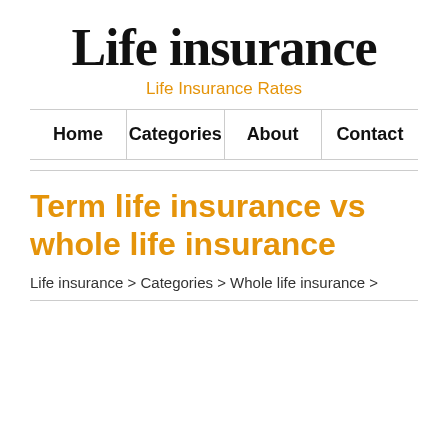Life insurance
Life Insurance Rates
Home | Categories | About | Contact
Term life insurance vs whole life insurance
Life insurance > Categories > Whole life insurance >